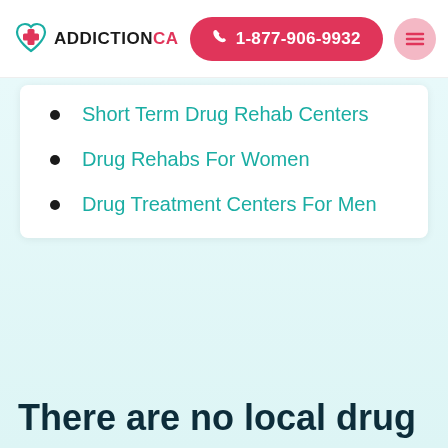[Figure (logo): AddictionCA logo with teal heart and red cross icon, and text ADDICTIONCA]
☎ 1-877-906-9932
Short Term Drug Rehab Centers
Drug Rehabs For Women
Drug Treatment Centers For Men
There are no local drug